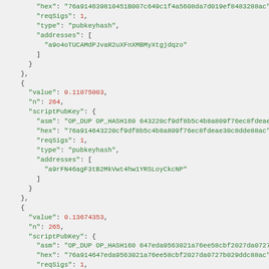JSON code block showing Bitcoin transaction output data with hex, reqSigs, type, addresses fields for multiple vout entries (n: 264, 265, 266)